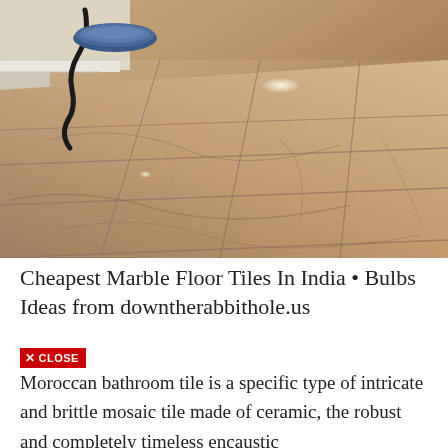[Figure (photo): Polished marble floor tiles with beige and brown veining, a black cord and blue circular buffer/polishing machine visible in the upper left corner, bright reflections on the polished surface]
Cheapest Marble Floor Tiles In India • Bulbs Ideas from downtherabbithole.us
✕ CLOSE
Moroccan bathroom tile is a specific type of intricate and brittle mosaic tile made of ceramic, the robust and completely timeless encaustic